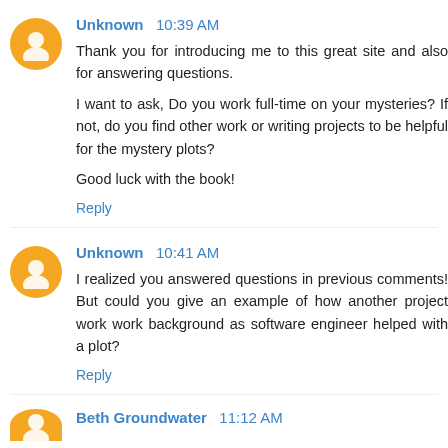Unknown 10:39 AM
Thank you for introducing me to this great site and also for answering questions.

I want to ask, Do you work full-time on your mysteries? If not, do you find other work or writing projects to be helpful for the mystery plots?

Good luck with the book!
Reply
Unknown 10:41 AM
I realized you answered questions in previous comments! But could you give an example of how another project work work background as software engineer helped with a plot?
Reply
Beth Groundwater 11:12 AM